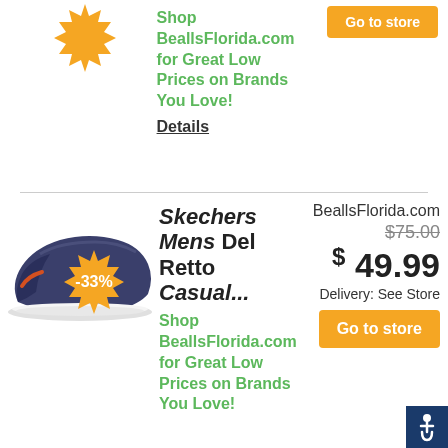[Figure (logo): Orange sunburst badge top]
Shop BeallsFlorida.com for Great Low Prices on Brands You Love!
Details
[Figure (photo): Skechers mens slip-on casual shoe, navy/grey]
[Figure (infographic): Orange sunburst badge with -33% discount]
Skechers Mens Del Retto Casual...
BeallsFlorida.com
$75.00
$ 49.99
Delivery: See Store
Go to store
Shop BeallsFlorida.com for Great Low Prices on Brands You Love!
Details
[Figure (infographic): Accessibility icon (wheelchair symbol) on dark blue background]